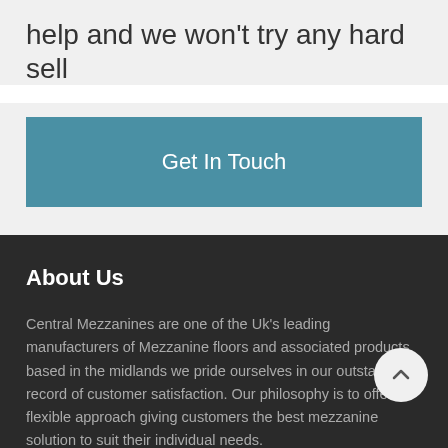help and we won't try any hard sell
Get In Touch
About Us
Central Mezzanines are one of the Uk's leading manufacturers of Mezzanine floors and associated products, based in the midlands we pride ourselves in our outstanding record of customer satisfaction. Our philosophy is to offer a flexible approach giving customers the best mezzanine solution to suit their individual needs.
Pages